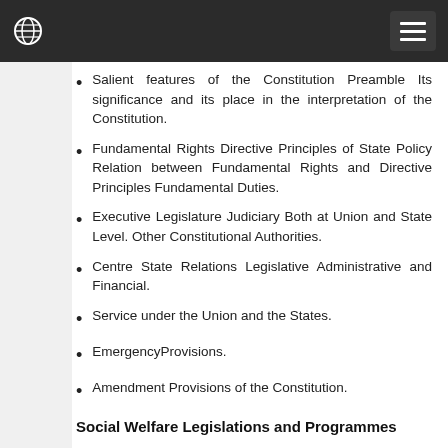Salient features of the Constitution Preamble Its significance and its place in the interpretation of the Constitution.
Fundamental Rights Directive Principles of State Policy Relation between Fundamental Rights and Directive Principles Fundamental Duties.
Executive Legislature Judiciary Both at Union and State Level. Other Constitutional Authorities.
Centre State Relations Legislative Administrative and Financial.
Service under the Union and the States.
EmergencyProvisions.
Amendment Provisions of the Constitution.
Social Welfare Legislations and Programmes